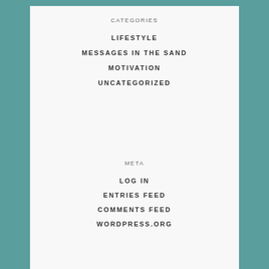CATEGORIES
LIFESTYLE
MESSAGES IN THE SAND
MOTIVATION
UNCATEGORIZED
META
LOG IN
ENTRIES FEED
COMMENTS FEED
WORDPRESS.ORG